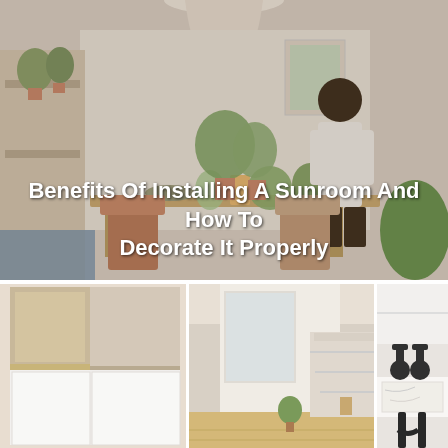[Figure (photo): Interior dining room scene with a man standing at a wooden table surrounded by potted plants, warm pendant light overhead, pink and blue chairs around the table, and white walls with plant decorations.]
Benefits Of Installing A Sunroom And How To Decorate It Properly
[Figure (photo): Three-panel interior home image showing: left panel - wooden and white cabinetry shelving unit; center panel - bright hallway with stairs and light wood floor; right panel - white marble sink with black wall-mounted faucets.]